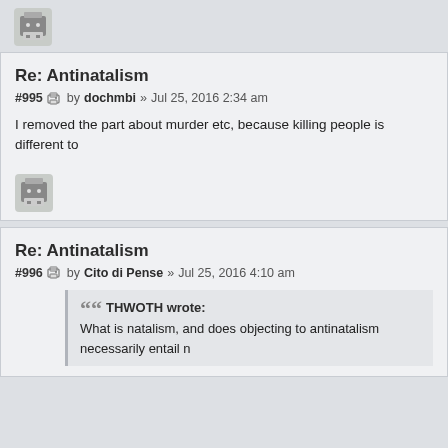[Figure (illustration): Avatar/printer icon for previous post]
Re: Antinatalism
#995  by dochmbi » Jul 25, 2016 2:34 am
I removed the part about murder etc, because killing people is different to
[Figure (illustration): Avatar/printer icon]
Re: Antinatalism
#996  by Cito di Pense » Jul 25, 2016 4:10 am
THWOTH wrote:
What is natalism, and does objecting to antinatalism necessarily entail n